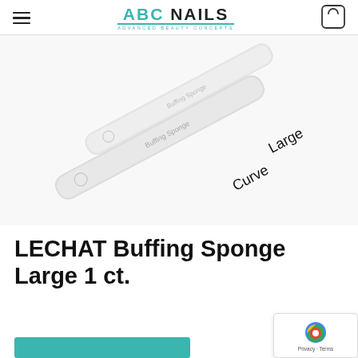ABC NAILS — Advanced Beauty Concepts
[Figure (photo): Two LECHAT buffing sponge nail files, white/cream colored, elongated shape. One labeled 'Large' and one labeled 'Curve', shown at a diagonal angle on a white background.]
LECHAT Buffing Sponge Large 1 ct.